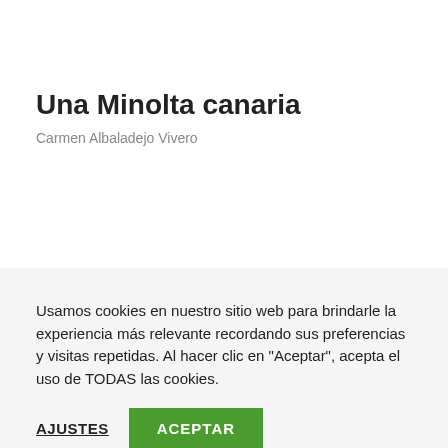Una Minolta canaria
Carmen Albaladejo Vivero
Usamos cookies en nuestro sitio web para brindarle la experiencia más relevante recordando sus preferencias y visitas repetidas. Al hacer clic en "Aceptar", acepta el uso de TODAS las cookies.
AJUSTES   ACEPTAR